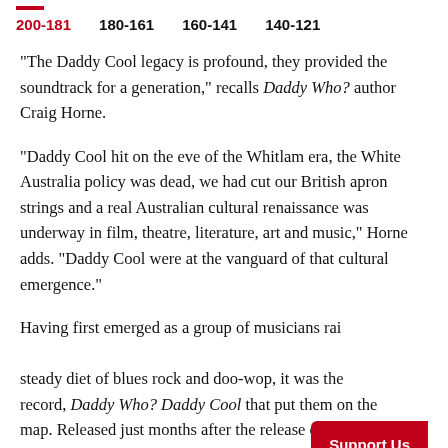200-181   180-161   160-141   140-121
“The Daddy Cool legacy is profound, they provided the soundtrack for a generation,” recalls Daddy Who? author Craig Horne.
“Daddy Cool hit on the eve of the Whitlam era, the White Australia policy was dead, we had cut our British apron strings and a real Australian cultural renaissance was underway in film, theatre, literature, art and music,” Horne adds. “Daddy Cool were at the vanguard of that cultural emergence.”
Having first emerged as a group of musicians raised on a steady diet of blues rock and doo-wop, it was the debut record, Daddy Who? Daddy Cool that put them on the map. Released just months after the release of debut single and cultural touchstone “Eagle Rock”, Daddy